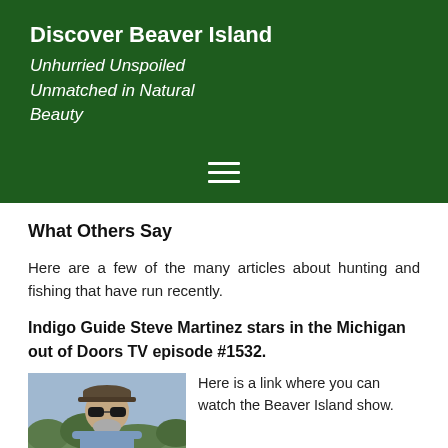Discover Beaver Island
Unhurried Unspoiled Unmatched in Natural Beauty
What Others Say
Here are a few of the many articles about hunting and fishing that have run recently.
Indigo Guide Steve Martinez stars in the Michigan out of Doors TV episode #1532.
[Figure (photo): Photo of a man wearing sunglasses and a cap, outdoors with trees and sky in background]
Here is a link where you can watch the Beaver Island show.